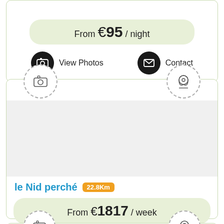From €95 / night
View Photos
Contact
[Figure (screenshot): Property listing card with camera and location pin dashed circle icons at top, blank image area in middle]
le Nid perché 22.8Km
From €1817 / week
Book Now
[Figure (screenshot): Partial bottom card showing camera and location dashed circle icons]